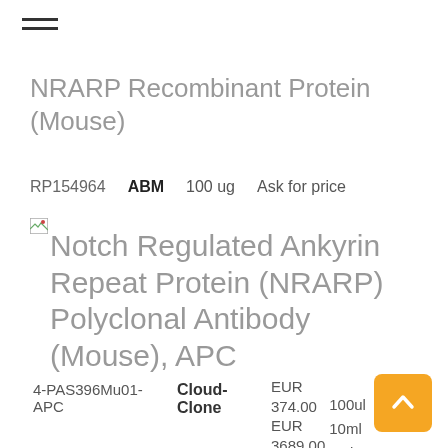NRARP Recombinant Protein (Mouse)
RP154964   ABM   100 ug   Ask for price
Notch Regulated Ankyrin Repeat Protein (NRARP) Polyclonal Antibody (Mouse), APC
| SKU | Supplier | Prices | Sizes |
| --- | --- | --- | --- |
| 4-PAS396Mu01-APC | Cloud-Clone | EUR 374.00
EUR 3689.00
EUR 1016.00
EUR 481.00
EUR | 100ul
10ml
1ml
200ul
20 |